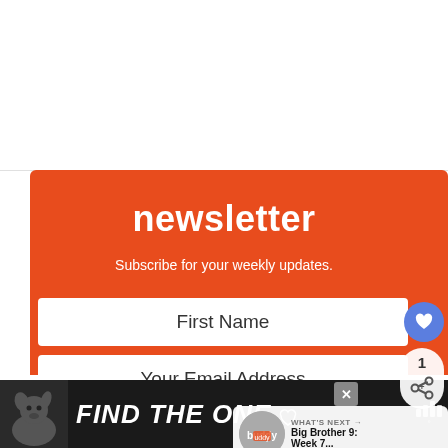newsletter
Subscribe for your weekly updates.
First Name
Your Email Address
SUBSCRIBE
WHAT'S NEXT → Big Brother 9: Week 7...
[Figure (infographic): Bottom ad bar with dog image and text FIND THE ONE]
FIND THE ONE